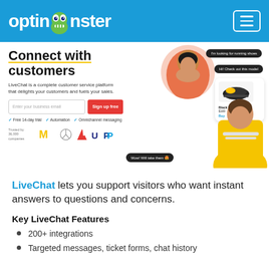optinmonster
[Figure (screenshot): LiveChat website hero section showing 'Connect with customers' headline, email sign-up form, trust badges, and chat interface mockup with users]
LiveChat lets you support visitors who want instant answers to questions and concerns.
Key LiveChat Features
200+ integrations
Targeted messages, ticket forms, chat history